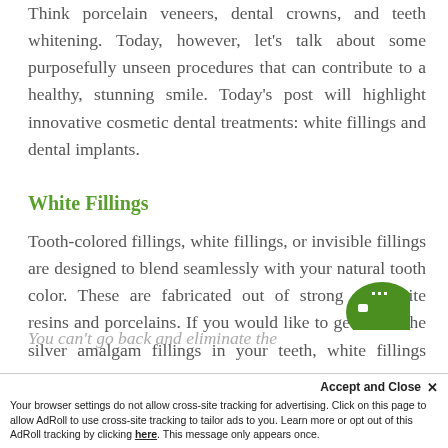Think porcelain veneers, dental crowns, and teeth whitening. Today, however, let's talk about some purposefully unseen procedures that can contribute to a healthy, stunning smile. Today's post will highlight innovative cosmetic dental treatments: white fillings and dental implants.
White Fillings
Tooth-colored fillings, white fillings, or invisible fillings are designed to blend seamlessly with your natural tooth color. These are fabricated out of strong composite resins and porcelains. If you would like to get rid of the silver amalgam fillings in your teeth, white fillings are the answer.
You can't go back and eliminate the
Accept and Close ×
Your browser settings do not allow cross-site tracking for advertising. Click on this page to allow AdRoll to use cross-site tracking to tailor ads to you. Learn more or opt out of this AdRoll tracking by clicking here. This message only appears once.